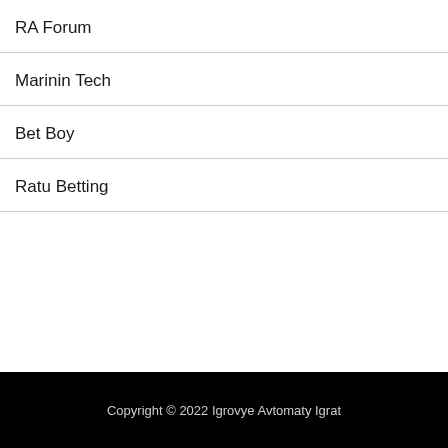RA Forum
Marinin Tech
Bet Boy
Ratu Betting
Copyright © 2022 Igrovye Avtomaty Igrat